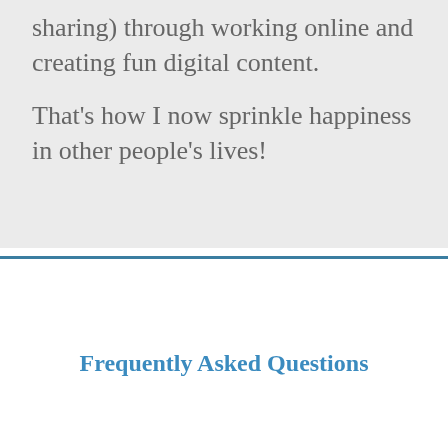sharing) through working online and creating fun digital content.
That’s how I now sprinkle happiness in other people’s lives!
Frequently Asked Questions